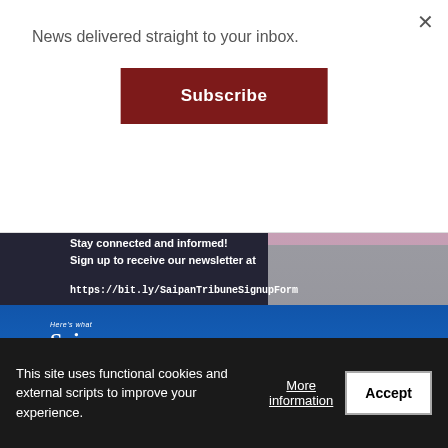News delivered straight to your inbox.
Subscribe
[Figure (screenshot): Advertisement for Saipan Tribune newsletter signup showing a laptop with the text AGAIN!, Stay connected and informed! Sign up to receive our newsletter at https://bit.ly/SaipanTribuneSignupForm, and the Saipan Tribune logo on a blue background.]
This site uses functional cookies and external scripts to improve your experience.
More information
Accept